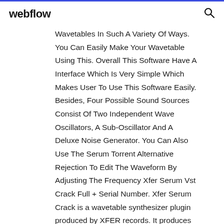webflow
Wavetables In Such A Variety Of Ways. You Can Easily Make Your Wavetable Using This. Overall This Software Have A Interface Which Is Very Simple Which Makes User To Use This Software Easily. Besides, Four Possible Sound Sources Consist Of Two Independent Wave Oscillators, A Sub-Oscillator And A Deluxe Noise Generator. You Can Also Use The Serum Torrent Alternative Rejection To Edit The Waveform By Adjusting The Frequency Xfer Serum Vst Crack Full + Serial Number. Xfer Serum Crack is a wavetable synthesizer plugin produced by XFER records. It produces the sustain valuable FLO instruments. Its important work is to